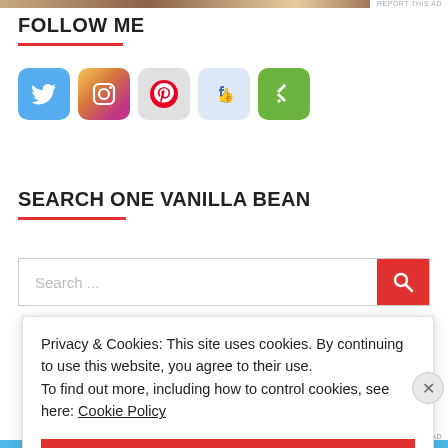[Figure (screenshot): Partial image strip at top]
FOLLOW ME
[Figure (infographic): Social media icons: Twitter, Instagram, Pinterest, Facebook, Feedly]
SEARCH ONE VANILLA BEAN
[Figure (screenshot): Search bar with placeholder text 'Search ...' and red search button with magnifying glass icon]
Privacy & Cookies: This site uses cookies. By continuing to use this website, you agree to their use.
To find out more, including how to control cookies, see here: Cookie Policy
CLOSE AND ACCEPT